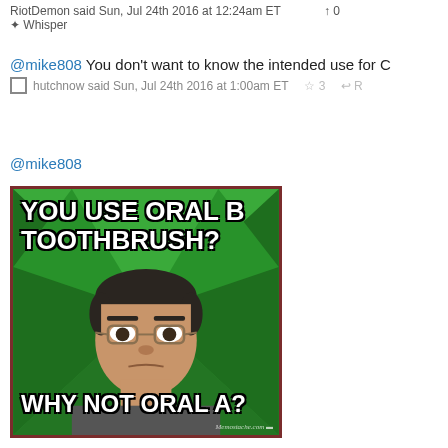RiotDemon said Sun, Jul 24th 2016 at 12:24am ET  ↑ 0
✦ Whisper
@mike808 You don't want to know the intended use for C
hutchnow said Sun, Jul 24th 2016 at 1:00am ET  ☆ 3  ↩ R
@mike808
[Figure (photo): Meme image with green geometric background. Asian man with glasses and stern expression in the center. Top text: 'YOU USE ORAL B TOOTHBRUSH?' Bottom text: 'WHY NOT ORAL A?' Watermark: Memostache.com]